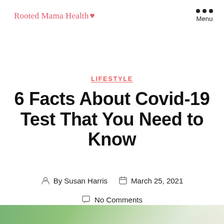Rooted Mama Health ♥
LIFESTYLE
6 Facts About Covid-19 Test That You Need to Know
By Susan Harris   March 25, 2021
No Comments
[Figure (photo): Bottom portion of page showing a blurred photo of what appears to be Covid-19 test kit items]